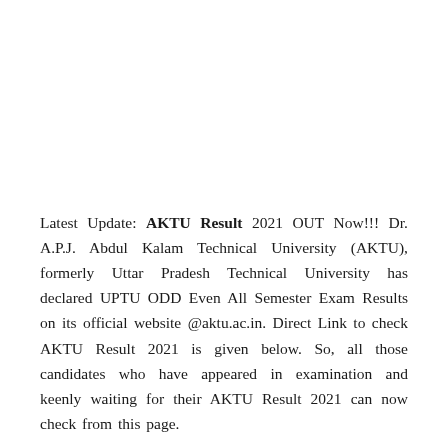Latest Update: AKTU Result 2021 OUT Now!!! Dr. A.P.J. Abdul Kalam Technical University (AKTU), formerly Uttar Pradesh Technical University has declared UPTU ODD Even All Semester Exam Results on its official website @aktu.ac.in. Direct Link to check AKTU Result 2021 is given below. So, all those candidates who have appeared in examination and keenly waiting for their AKTU Result 2021 can now check from this page.
Candidates can also check their AKTU B.Tech, B.Arch, MBA